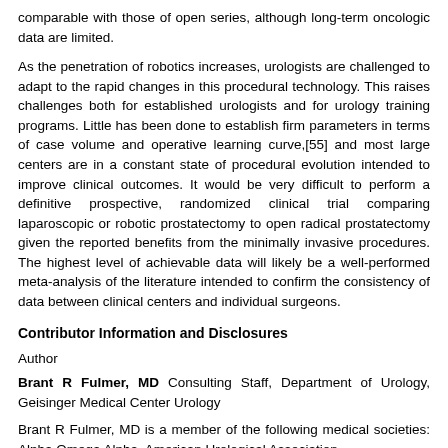comparable with those of open series, although long-term oncologic data are limited.
As the penetration of robotics increases, urologists are challenged to adapt to the rapid changes in this procedural technology. This raises challenges both for established urologists and for urology training programs. Little has been done to establish firm parameters in terms of case volume and operative learning curve,[55] and most large centers are in a constant state of procedural evolution intended to improve clinical outcomes. It would be very difficult to perform a definitive prospective, randomized clinical trial comparing laparoscopic or robotic prostatectomy to open radical prostatectomy given the reported benefits from the minimally invasive procedures. The highest level of achievable data will likely be a well-performed meta-analysis of the literature intended to confirm the consistency of data between clinical centers and individual surgeons.
Contributor Information and Disclosures
Author
Brant R Fulmer, MD Consulting Staff, Department of Urology, Geisinger Medical Center Urology
Brant R Fulmer, MD is a member of the following medical societies: Alpha Omega Alpha, American Urological Association
Disclosure: Partner received honoraria from Intuitive Surgical for speaking and teaching.
Coauthor(s)